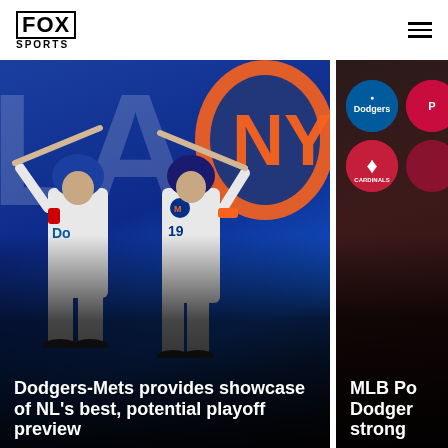FOX SPORTS
[Figure (photo): Fox Sports article card showing two baseball players - a Dodgers batter and a Mets batter in front of their respective team logos on a blue background]
Dodgers-Mets provides showcase of NL's best, potential playoff preview
[Figure (photo): Fox Sports article card showing MLB team logos including Dodgers, Cardinals and others on a dark background, partially cropped]
MLB Po Dodger strong